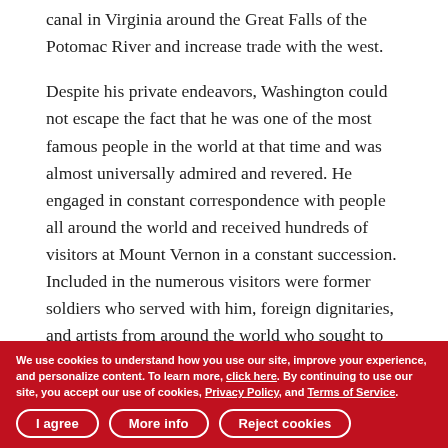canal in Virginia around the Great Falls of the Potomac River and increase trade with the west.
Despite his private endeavors, Washington could not escape the fact that he was one of the most famous people in the world at that time and was almost universally admired and revered. He engaged in constant correspondence with people all around the world and received hundreds of visitors at Mount Vernon in a constant succession. Included in the numerous visitors were former soldiers who served with him, foreign dignitaries, and artists from around the world who sought to capture his likeness.
Though retired from public life, Washington continued to
We use cookies to understand how you use our site, improve your experience, and personalize content. To learn more, click here. By continuing to use our site, you accept our use of cookies, Privacy Policy, and Terms of Service.
I agree   More info   Reject cookies